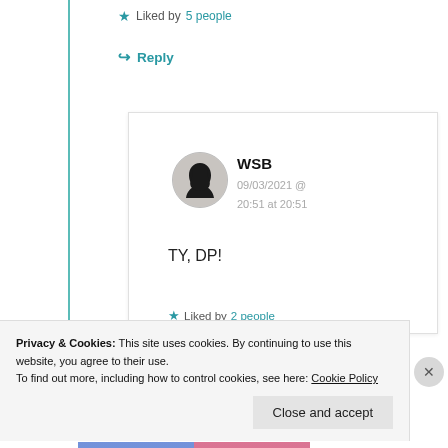★ Liked by 5 people
↪ Reply
[Figure (illustration): Circular avatar with a silhouette profile of a person's head facing left, dark on light grey background]
WSB
09/03/2021 @ 20:51 at 20:51
TY, DP!
★ Liked by 2 people
Privacy & Cookies: This site uses cookies. By continuing to use this website, you agree to their use.
To find out more, including how to control cookies, see here: Cookie Policy
Close and accept